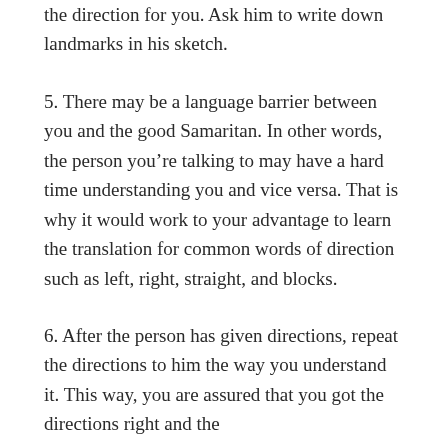the direction for you. Ask him to write down landmarks in his sketch.
5. There may be a language barrier between you and the good Samaritan. In other words, the person you’re talking to may have a hard time understanding you and vice versa. That is why it would work to your advantage to learn the translation for common words of direction such as left, right, straight, and blocks.
6. After the person has given directions, repeat the directions to him the way you understand it. This way, you are assured that you got the directions right and the